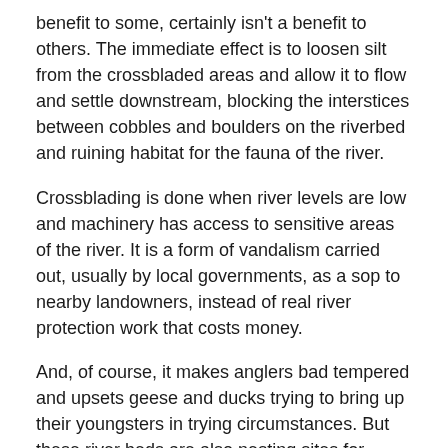benefit to some, certainly isn't a benefit to others. The immediate effect is to loosen silt from the crossbladed areas and allow it to flow and settle downstream, blocking the interstices between cobbles and boulders on the riverbed and ruining habitat for the fauna of the river.
Crossblading is done when river levels are low and machinery has access to sensitive areas of the river. It is a form of vandalism carried out, usually by local governments, as a sop to nearby landowners, instead of real river protection work that costs money.
And, of course, it makes anglers bad tempered and upsets geese and ducks trying to bring up their youngsters in trying circumstances. But these river beds are also nesting sites for wrybills and stilts, and are prime feeding areas for many other birds.
A day's fishing spoilt it may be for an angler, but it is life and death to nesting birds, and it means a slow death to the fish of the river deprived of a prime food source. What is most